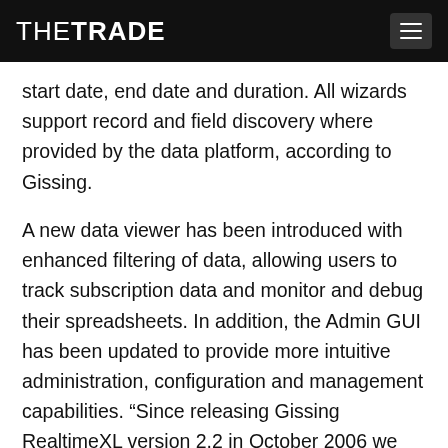THETRADE
start date, end date and duration. All wizards support record and field discovery where provided by the data platform, according to Gissing.
A new data viewer has been introduced with enhanced filtering of data, allowing users to track subscription data and monitor and debug their spreadsheets. In addition, the Admin GUI has been updated to provide more intuitive administration, configuration and management capabilities. “Since releasing Gissing RealtimeXL version 2.2 in October 2006 we have seen significant uptake of the product,” says Nick Braybrooke, product manager for Gissing RealtimeXL. “Version 3.0 adds significant usability enhancements, together with improvement in performance, allowing buy-side and sell-side users to benefit from both greater flexibility and a superior performance.” he added.